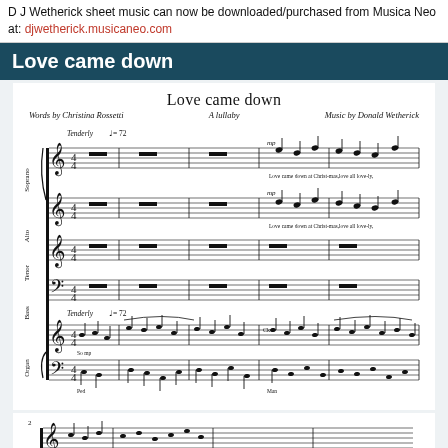D J Wetherick sheet music can now be downloaded/purchased from Musica Neo at: djwetherick.musicaneo.com
Love came down
[Figure (illustration): Sheet music for 'Love came down - A lullaby', Words by Christina Rossetti, Music by Donald Wetherick. Shows SATB choral parts (Soprano, Alto, Tenor, Bass) and Organ accompaniment, Tenderly quarter = 72, with music notation for several bars. A second system snippet is visible at the bottom of the page.]